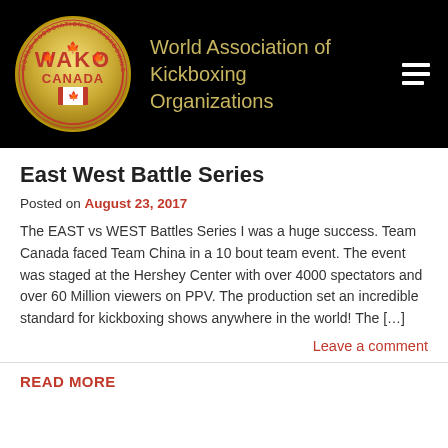[Figure (logo): WAKO Canada circular gold logo with maple leafs and Canadian flag, surrounded by text 'World Association of Kickboxing Organizations']
World Association of Kickboxing Organizations
East West Battle Series
Posted on August 23, 2017
The EAST vs WEST Battles Series I was a huge success. Team Canada faced Team China in a 10 bout team event. The event was staged at the Hershey Center with over 4000 spectators and over 60 Million viewers on PPV. The production set an incredible standard for kickboxing shows anywhere in the world! The […]
Leave a comment
READ MORE